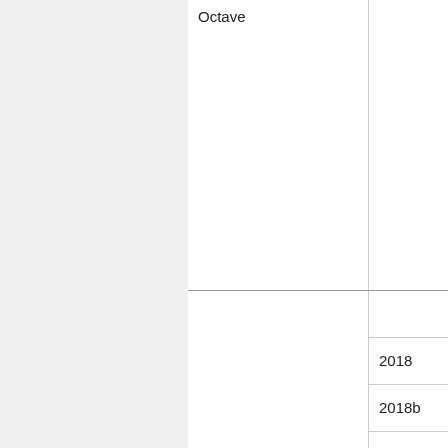| Octave |  |
| Origin | 2018
2018b
2019b
2020
2020b
2022 |